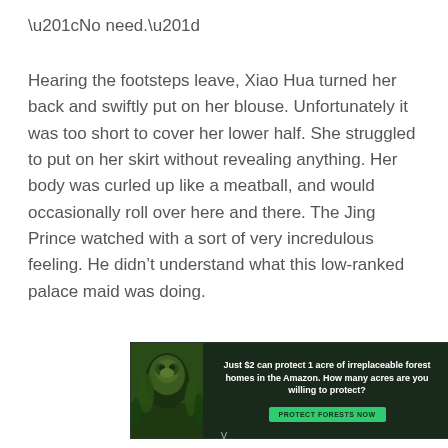“No need.”
Hearing the footsteps leave, Xiao Hua turned her back and swiftly put on her blouse. Unfortunately it was too short to cover her lower half. She struggled to put on her skirt without revealing anything. Her body was curled up like a meatball, and would occasionally roll over here and there. The Jing Prince watched with a sort of very incredulous feeling. He didn’t understand what this low-ranked palace maid was doing.
[Figure (other): Advertisement banner with dark forest background showing an orangutan, text reads: Just $2 can protect 1 acre of irreplaceable forest homes in the Amazon. How many acres are you willing to protect? Green button: PROTECT FORESTS NOW]
v